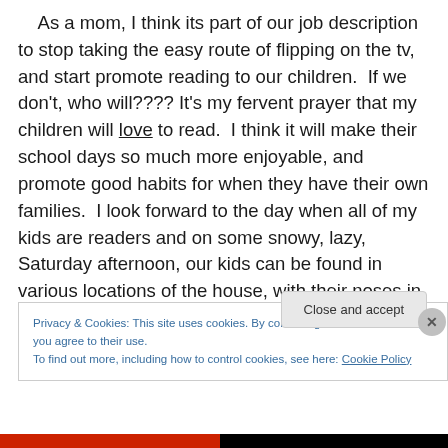As a mom, I think its part of our job description to stop taking the easy route of flipping on the tv, and start promote reading to our children.  If we don't, who will???? It's my fervent prayer that my children will love to read.  I think it will make their school days so much more enjoyable, and promote good habits for when they have their own families.  I look forward to the day when all of my kids are readers and on some snowy, lazy, Saturday afternoon, our kids can be found in various locations of the house, with their noses in their book.  (Dale hates to read,
Privacy & Cookies: This site uses cookies. By continuing to use this website, you agree to their use.
To find out more, including how to control cookies, see here: Cookie Policy
Close and accept